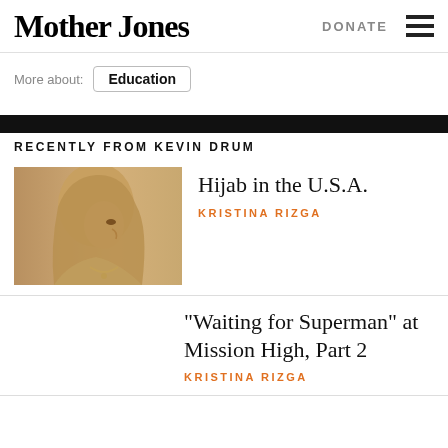Mother Jones
DONATE
More about: Education
RECENTLY FROM KEVIN DRUM
[Figure (photo): Sepia-toned profile portrait of a young woman wearing a hijab with necklace, looking to the left]
Hijab in the U.S.A.
KRISTINA RIZGA
“Waiting for Superman” at Mission High, Part 2
KRISTINA RIZGA